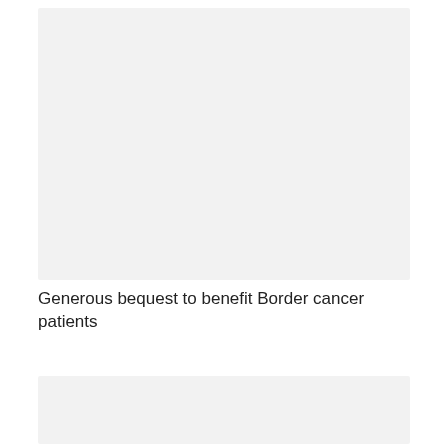[Figure (photo): Large image placeholder at top of article — light grey rectangle representing a photo related to the article about a generous bequest benefiting Border cancer patients.]
Generous bequest to benefit Border cancer patients
[Figure (photo): Smaller image placeholder at bottom — light grey rectangle representing a secondary photo related to the article.]